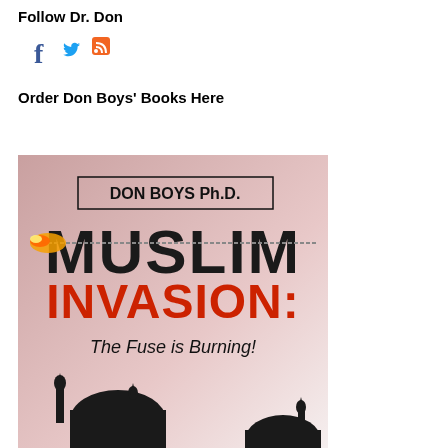Follow Dr. Don
[Figure (infographic): Social media icons: Facebook (f), Twitter (bird), RSS feed icon]
Order Don Boys' Books Here
[Figure (illustration): Book cover: 'Muslim Invasion: The Fuse is Burning!' by Don Boys Ph.D. Features large text 'MUSLIM' with a burning fuse, 'INVASION:' in red, subtitle 'The Fuse is Burning!' and silhouette of mosque domes at bottom, on a pink/mauve gradient background.]